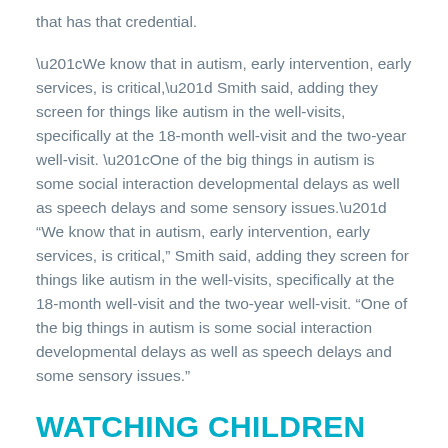that has that credential.
“We know that in autism, early intervention, early services, is critical,” Smith said, adding they screen for things like autism in the well-visits, specifically at the 18-month well-visit and the two-year well-visit. “One of the big things in autism is some social interaction developmental delays as well as speech delays and some sensory issues.”
WATCHING CHILDREN DEVELOP THROUGH THEIR LIFE
Being in operation for five years, Smith has treated and watched countless children develop as they go on